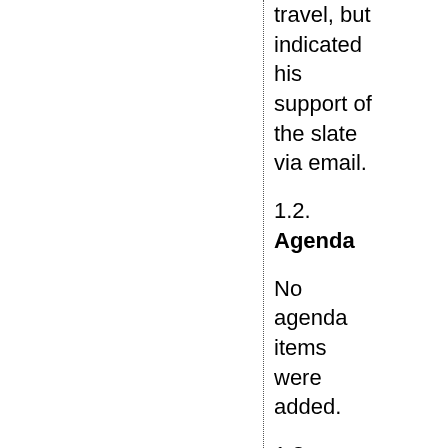travel, but indicated his support of the slate via email.
1.2. Agenda
No agenda items were added.
1.3. Administrivia
No administrative items were discussed.